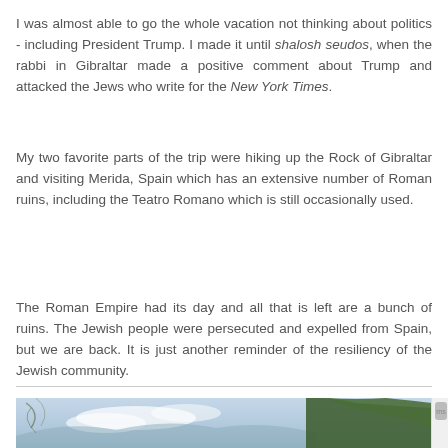I was almost able to go the whole vacation not thinking about politics - including President Trump. I made it until shalosh seudos, when the rabbi in Gibraltar made a positive comment about Trump and attacked the Jews who write for the New York Times.
My two favorite parts of the trip were hiking up the Rock of Gibraltar and visiting Merida, Spain which has an extensive number of Roman ruins, including the Teatro Romano which is still occasionally used.
The Roman Empire had its day and all that is left are a bunch of ruins. The Jewish people were persecuted and expelled from Spain, but we are back. It is just another reminder of the resiliency of the Jewish community.
[Figure (photo): Outdoor landscape photo showing a sky with clouds on the left side and a tree with green foliage on the right side, appearing to be taken from an elevated vantage point possibly Gibraltar.]